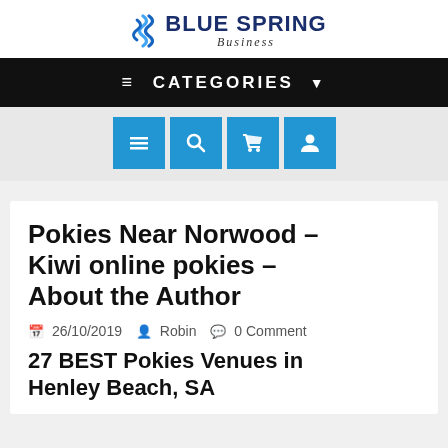[Figure (logo): Blue Spring Business logo with spring/wave icon in blue and site name]
≡  CATEGORIES  ▼
[Figure (infographic): Four blue icon buttons: hamburger menu, search (magnifying glass), shopping cart, user profile]
Pokies Near Norwood – Kiwi online pokies – About the Author
26/10/2019   Robin   0 Comment
27 BEST Pokies Venues in Henley Beach, SA